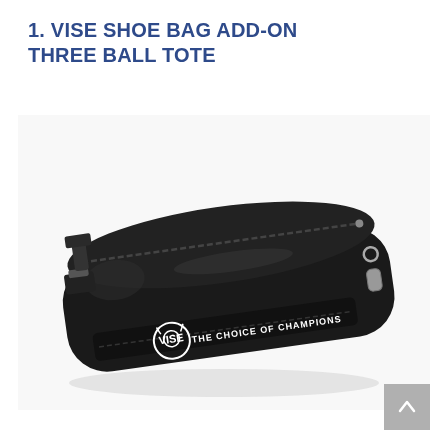1. VISE SHOE BAG ADD-ON THREE BALL TOTE
[Figure (photo): A black VISE shoe bag add-on three ball tote. The elongated black bag features a zipper along the top, a clip/carabiner on the right side, a shoulder strap attachment on the left, and white VISE logo with text 'THE CHOICE OF CHAMPIONS' printed on the front.]